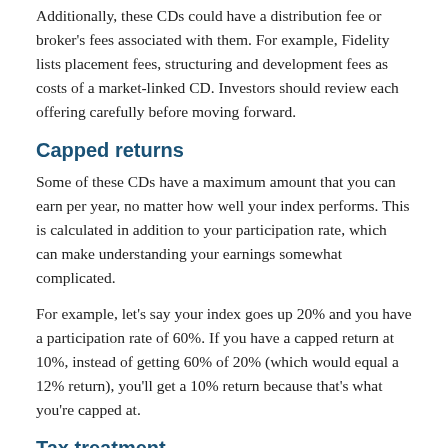Additionally, these CDs could have a distribution fee or broker's fees associated with them. For example, Fidelity lists placement fees, structuring and development fees as costs of a market-linked CD. Investors should review each offering carefully before moving forward.
Capped returns
Some of these CDs have a maximum amount that you can earn per year, no matter how well your index performs. This is calculated in addition to your participation rate, which can make understanding your earnings somewhat complicated.
For example, let's say your index goes up 20% and you have a participation rate of 60%. If you have a capped return at 10%, instead of getting 60% of 20% (which would equal a 12% return), you'll get a 10% return because that's what you're capped at.
Tax treatment
Market-linked CDs are taxed the same as conventional CDs. Interest earnings from both are taxed as regular income, and